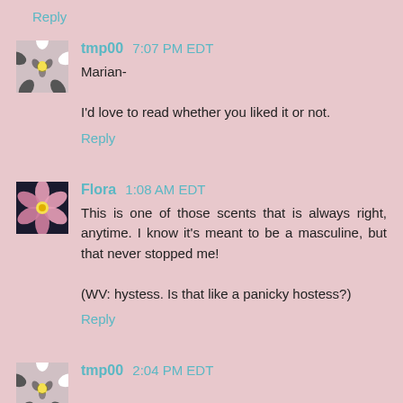Reply
tmp00  7:07 PM EDT
Marian-

I'd love to read whether you liked it or not.
Reply
Flora  1:08 AM EDT
This is one of those scents that is always right, anytime. I know it's meant to be a masculine, but that never stopped me!

(WV: hystess. Is that like a panicky hostess?)
Reply
tmp00  2:04 PM EDT